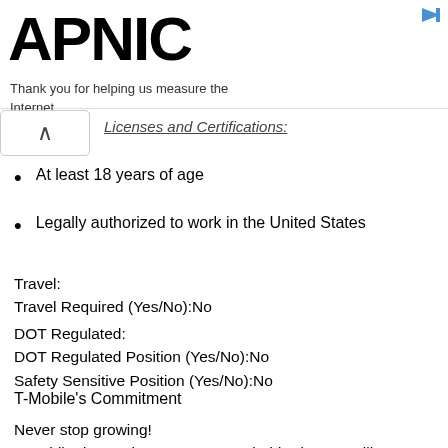APNIC — Thank you for helping us measure the Internet.
Licenses and Certifications:
At least 18 years of age
Legally authorized to work in the United States
Travel:
Travel Required (Yes/No):No
DOT Regulated:
DOT Regulated Position (Yes/No):No
Safety Sensitive Position (Yes/No):No
T-Mobile's Commitment
Never stop growing!
T-Mobile doesn't have a corporate ladder-it's more like a jungle gym of possibilities! We love helping our employees grow in their careers, because it's that shared drive to aim